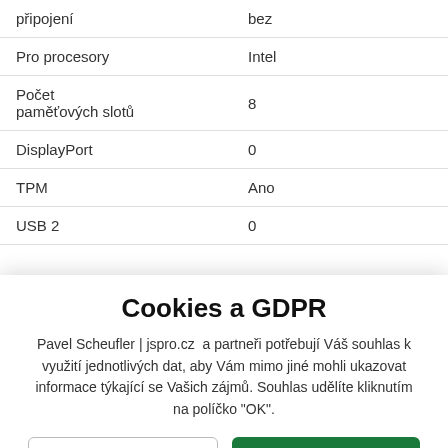| připojení | bez |
| Pro procesory | Intel |
| Počet paměťových slotů | 8 |
| DisplayPort | 0 |
| TPM | Ano |
| USB 2 | 0 |
Cookies a GDPR
Pavel Scheufler | jspro.cz  a partneři potřebují Váš souhlas k využití jednotlivých dat, aby Vám mimo jiné mohli ukazovat informace týkající se Vašich zájmů. Souhlas udělíte kliknutím na políčko "OK".
Zamítnout vše
OK
Podrobné nastavení s vysvětlením zde